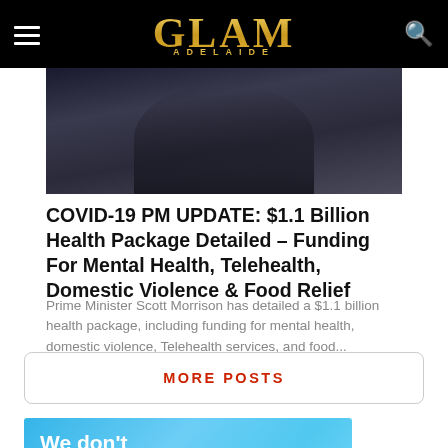GLAM ADELAIDE
[Figure (photo): Dark background photo partially visible showing a person in a dark outfit against a dark curtain/backdrop]
COVID-19 PM UPDATE: $1.1 Billion Health Package Detailed – Funding For Mental Health, Telehealth, Domestic Violence & Food Relief
Prime Minister Scott Morrison has detailed a $1.1 billion health package, including funding for mental health, domestic violence, Telehealth services, and food...
MORE POSTS
[Figure (photo): Blue sky advertisement banner with white text reading: We don't grate cheese, we do great]